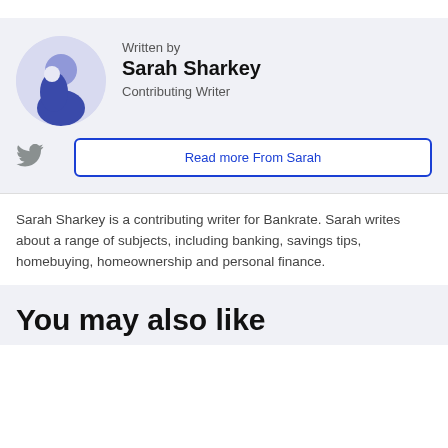[Figure (illustration): Circular avatar icon with a generic person silhouette in blue/purple tones on a light blue-purple background circle]
Written by
Sarah Sharkey
Contributing Writer
[Figure (logo): Twitter bird icon in gray]
Read more From Sarah
Sarah Sharkey is a contributing writer for Bankrate. Sarah writes about a range of subjects, including banking, savings tips, homebuying, homeownership and personal finance.
You may also like